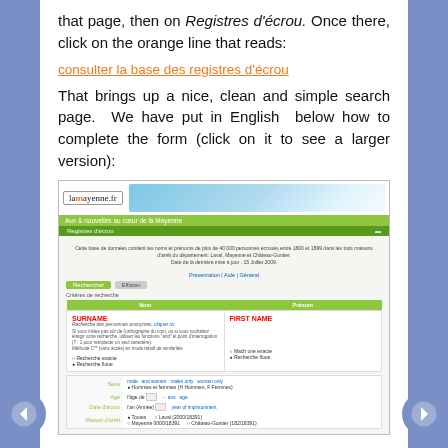that page, then on Registres d'écrou. Once there, click on the orange line that reads:
consulter la base des registres d'écrou
That brings up a nice, clean and simple search page. We have put in English below how to complete the form (click on it to see a larger version):
[Figure (screenshot): Screenshot of the lamayenne.fr website showing a search form for registres d'écrou, with fields for SURNAME and FIRST NAME, search options, and additional form fields for sex, age, date, and place.]